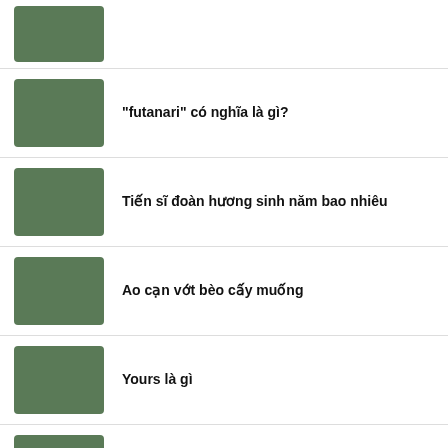"futanari" có nghĩa là gì?
Tiến sĩ đoàn hương sinh năm bao nhiêu
Ao cạn vớt bèo cấy muống
Yours là gì
Mặt thư hay có đáp án